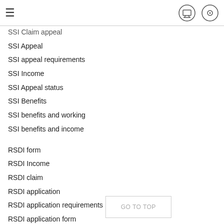≡ [monitor icon] [settings icon]
SSI Claim appeal
SSI Appeal
SSI appeal requirements
SSI Income
SSI Appeal status
SSI Benefits
SSI benefits and working
SSI benefits and income
RSDI form
RSDI Income
RSDI claim
RSDI application
RSDI application requirements
RSDI application form
RSDI claim
RSDI claim Status
RSDI claim appeal
RSDI claim report
RSDI claim form
RSDI appeal
RSDI appeal status
RSDI appeal report